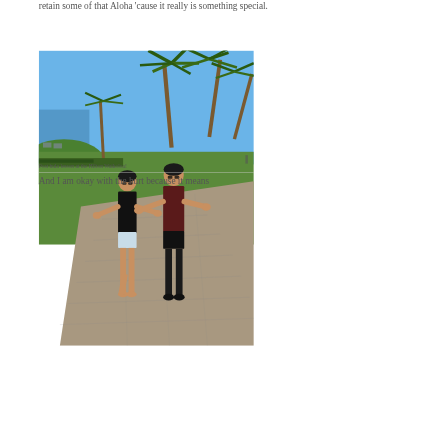retain some of that Aloha 'cause it really is something special.
[Figure (photo): Two women posing on a stone path at the Hilton Waikoloa resort, doing a hula hand gesture. Palm trees and blue sky in the background, ocean visible on the left.]
Post hula lesson at the Hilton Waikoloa!
And I am okay with the hurt because it means